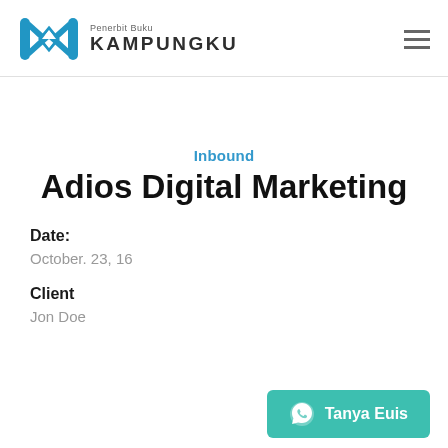Penerbit Buku KAMPUNGKU
Inbound
Adios Digital Marketing
Date:
October. 23, 16
Client
Jon Doe
Tanya Euis